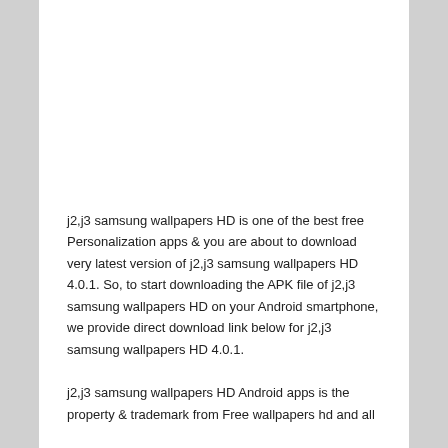j2,j3 samsung wallpapers HD is one of the best free Personalization apps & you are about to download very latest version of j2,j3 samsung wallpapers HD 4.0.1. So, to start downloading the APK file of j2,j3 samsung wallpapers HD on your Android smartphone, we provide direct download link below for j2,j3 samsung wallpapers HD 4.0.1.
j2,j3 samsung wallpapers HD Android apps is the property & trademark from Free wallpapers hd and all